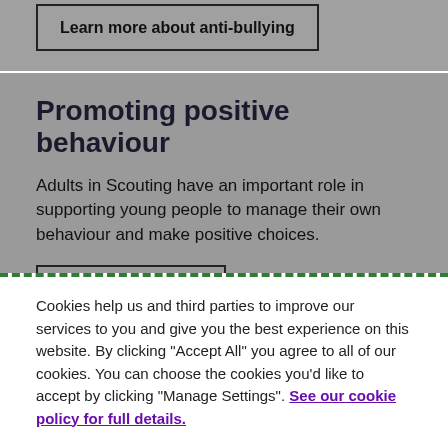Learn more about anti-bullying
Promoting positive behaviour
Adults in Scouting have an important role in supporting young people to manage their own behaviour and make positive choices.
Read the guidance
Cookies help us and third parties to improve our services to you and give you the best experience on this website. By clicking "Accept All" you agree to all of our cookies. You can choose the cookies you'd like to accept by clicking "Manage Settings". See our cookie policy for full details.